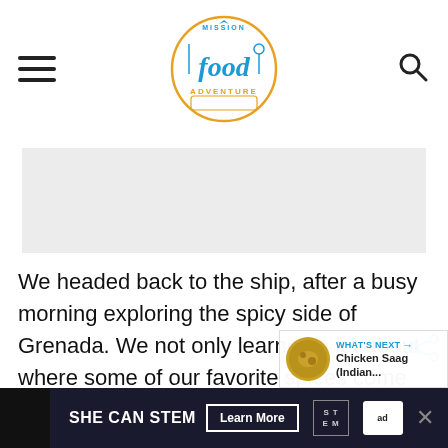Mission Food Adventure
[Figure (logo): Mission Food Adventure logo — circular badge with airplane, fork, spoon, ticket graphic; 'food' in large script, 'MISSION' and 'ADVENTURE' in smaller caps, orange and teal colors]
[Figure (other): Gray advertisement placeholder block]
We headed back to the ship, after a busy morning exploring the spicy side of Grenada. We not only learned a lot about where some of our favorite spices come from, but also gained a new app for all the hard work involved.
[Figure (other): WHAT'S NEXT widget showing thumbnail and text 'Chicken Saag (Indian...']
SHE CAN STEM  Learn More  ad council